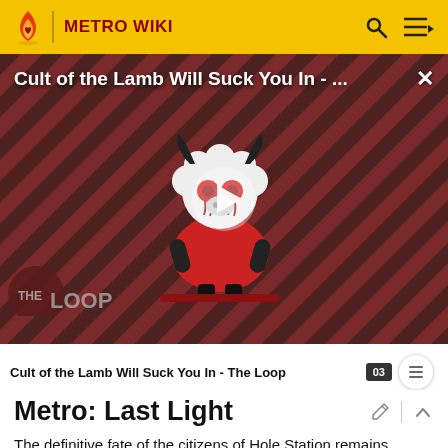METRO WIKI
[Figure (screenshot): Video thumbnail for 'Cult of the Lamb Will Suck You In - The Loop' showing a cartoon lamb character with red eyes on a striped dark background, with a play button overlay and 'THE LOOP' logo in the lower left.]
Cult of the Lamb Will Suck You In - The Loop
Metro: Last Light
The definitive fate of the citizens of Hole Station remains